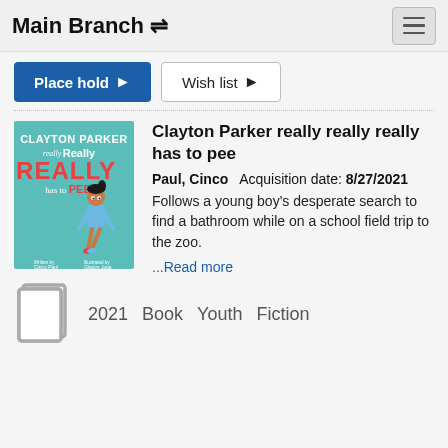Main Branch
Place hold   Wish list
[Figure (illustration): Book cover of 'Clayton Parker really Really REALLY has to Pee' with teal background, illustrated boy crossing his legs, written by Cinco Paul, illustrated by Gladys Jose]
Clayton Parker really really really has to pee
Paul, Cinco   Acquisition date: 8/27/2021
Follows a young boy's desperate search to find a bathroom while on a school field trip to the zoo.
...Read more
2021   Book   Youth   Fiction